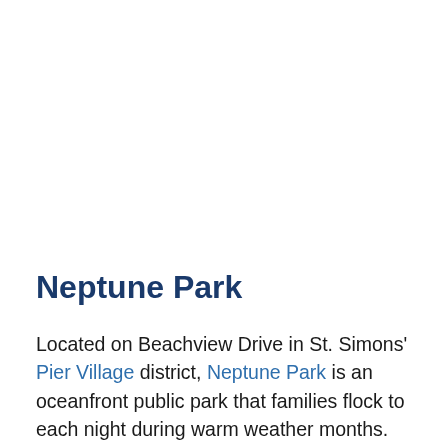Neptune Park
Located on Beachview Drive in St. Simons' Pier Village district, Neptune Park is an oceanfront public park that families flock to each night during warm weather months. Neptune Park features picnic tables under stately oak trees, a children's playground, a miniature golf course, swimming pool, lots of benches for